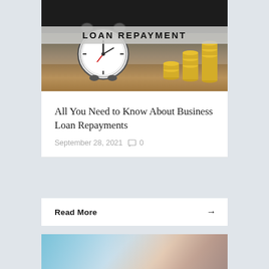[Figure (photo): Hero image showing an alarm clock and stacks of gold coins on a wooden table with a dark background. A banner overlay reads 'LOAN REPAYMENT'.]
All You Need to Know About Business Loan Repayments
September 28, 2021  0
Read More →
[Figure (photo): Partial image showing blurred colorful office/desk scene at the bottom of the page.]